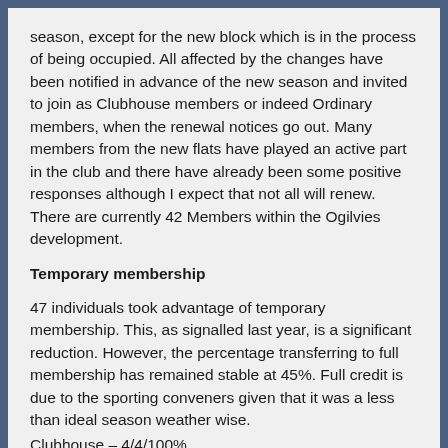season, except for the new block which is in the process of being occupied. All affected by the changes have been notified in advance of the new season and invited to join as Clubhouse members or indeed Ordinary members, when the renewal notices go out. Many members from the new flats have played an active part in the club and there have already been some positive responses although I expect that not all will renew. There are currently 42 Members within the Ogilvies development.
Temporary membership
47 individuals took advantage of temporary membership. This, as signalled last year, is a significant reduction. However, the percentage transferring to full membership has remained stable at 45%. Full credit is due to the sporting conveners given that it was a less than ideal season weather wise.
Clubhouse – 4/4/100%
Lawn bl... 22/12/24%